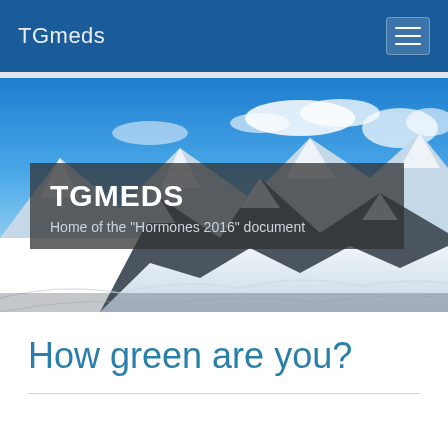TGmeds
[Figure (photo): Mountain landscape with snow-covered peaks under a blue sky, with a dark semi-transparent overlay box containing the text TGMEDS and subtitle Home of the "Hormones 2016" document]
How green are you?